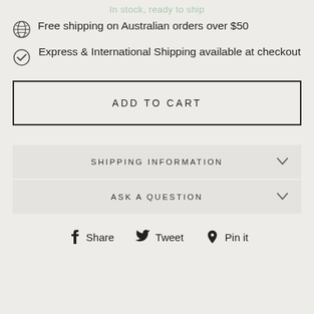In stock, ready to ship
Free shipping on Australian orders over $50
Express & International Shipping available at checkout
ADD TO CART
SHIPPING INFORMATION
ASK A QUESTION
Share  Tweet  Pin it